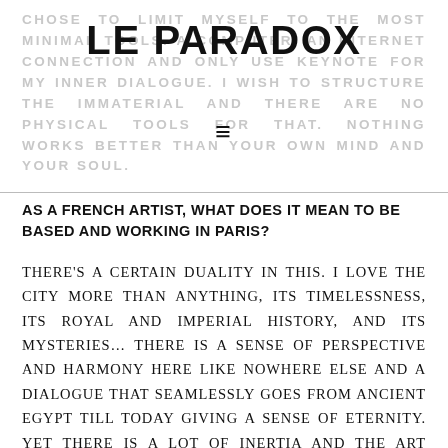CHOSE TO LIMIT MYSELF TO THE MOST MINIMAL TOOLS. A COMPUTER, AN INTERNET CONNECTION AND ONLY USE KEYNOTE FOR MY INNER DIALOGUE. I WISH TO STRUCTURE THE IMMATERIAL AND THERE ARE NO PHYSICAL TOOLS FOR THAT. NOTHING WORKS BETTER THAN YOUR OWN MIND AND YOUR SOUL.
LE PARADOX
AS A FRENCH ARTIST, WHAT DOES IT MEAN TO BE BASED AND WORKING IN PARIS?
THERE'S A CERTAIN DUALITY IN THIS. I LOVE THE CITY MORE THAN ANYTHING, ITS TIMELESSNESS, ITS ROYAL AND IMPERIAL HISTORY, AND ITS MYSTERIES… THERE IS A SENSE OF PERSPECTIVE AND HARMONY HERE LIKE NOWHERE ELSE AND A DIALOGUE THAT SEAMLESSLY GOES FROM ANCIENT EGYPT TILL TODAY GIVING A SENSE OF ETERNITY. YET THERE IS A LOT OF INERTIA AND THE ART SCENE IS A BIT STEADY. THERE